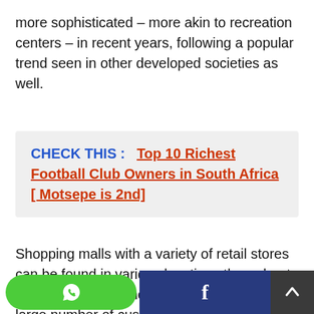more sophisticated – more akin to recreation centers – in recent years, following a popular trend seen in other developed societies as well.
CHECK THIS :   Top 10 Richest Football Club Owners in South Africa [ Motsepe is 2nd]
Shopping malls with a variety of retail stores can be found in various locations throughout South Africa, and they are frequented by a large number of customers from all walks of life and all socioeconomic backgrounds. While South Africa can boast of a plethora of sophisticated malls in a